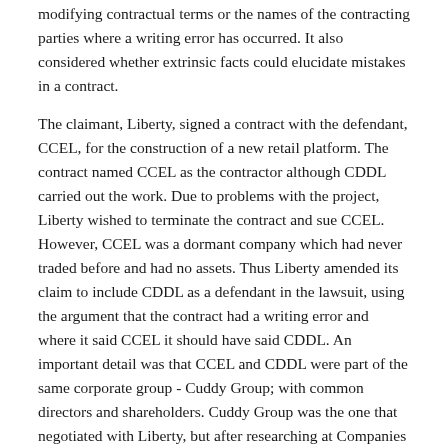modifying contractual terms or the names of the contracting parties where a writing error has occurred. It also considered whether extrinsic facts could elucidate mistakes in a contract.
The claimant, Liberty, signed a contract with the defendant, CCEL, for the construction of a new retail platform. The contract named CCEL as the contractor although CDDL carried out the work. Due to problems with the project, Liberty wished to terminate the contract and sue CCEL. However, CCEL was a dormant company which had never traded before and had no assets. Thus Liberty amended its claim to include CDDL as a defendant in the lawsuit, using the argument that the contract had a writing error and where it said CCEL it should have said CDDL. An important detail was that CCEL and CDDL were part of the same corporate group - Cuddy Group; with common directors and shareholders. Cuddy Group was the one that negotiated with Liberty, but after researching at Companies House, Liberty requested that the main contract and the collateral warranty were signed by CCEL.
The court held a result of CCEL's absence would be...